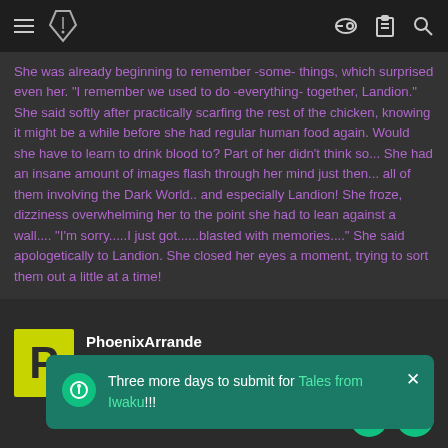Navigation bar with hamburger menu, logo, key icon, clipboard icon, search icon
She was already beginning to remember -some- things, which surprised even her. "I remember we used to do -everything- together, Landion." She said softly after practically scarfing the rest of the chicken, knowing it might be a while before she had regular human food again. Would she have to learn to drink blood to? Part of her didn't think so... She had an insane amount of images flash through her mind just then... all of them involving the Dark World.. and especially Landion! She froze, dizziness overwhelming her to the point she had to lean against a wall.... "I'm sorry.....I just got......blasted with memories...." She said apologetically to Landion. She closed her eyes a moment, trying to sort them out a little at a time!
PhoenixArrande
Guest
Three more days to submit for Tales from Iwaku!!!
As Landion strolled comfortably down the hall, he couldn't help but